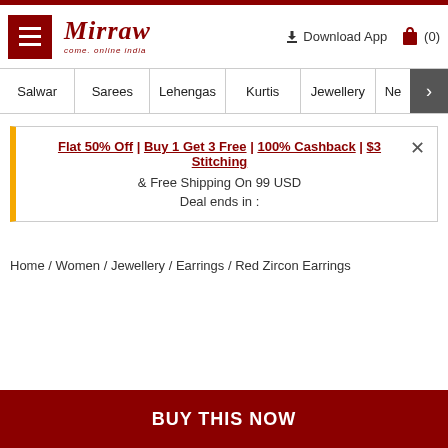Mirraw - come, online india | Download App | (0)
Salwar | Sarees | Lehengas | Kurtis | Jewellery | Ne >
Flat 50% Off | Buy 1 Get 3 Free | 100% Cashback | $3 Stitching & Free Shipping On 99 USD
Deal ends in :
Home / Women / Jewellery / Earrings / Red Zircon Earrings
BUY THIS NOW